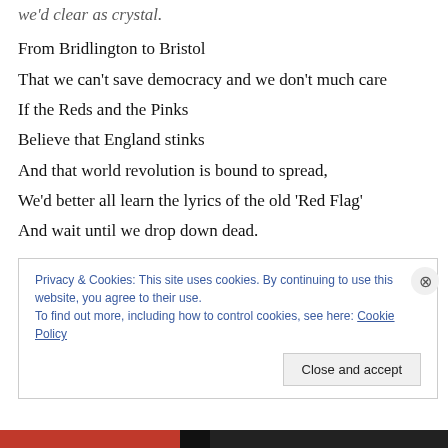From Bridlington to Bristol
That we can’t save democracy and we don’t much care
If the Reds and the Pinks
Believe that England stinks
And that world revolution is bound to spread,
We’d better all learn the lyrics of the old ‘Red Flag’
And wait until we drop down dead.
A likely story
Land of Hope and Glory,
Wait until we drop down dead.
Privacy & Cookies: This site uses cookies. By continuing to use this website, you agree to their use.
To find out more, including how to control cookies, see here: Cookie Policy
Close and accept